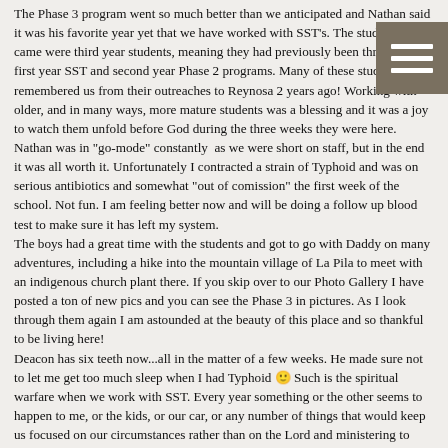The Phase 3 program went so much better than we anticipated and Nathan said it was his favorite year yet that we have worked with SST's. The students that came were third year students, meaning they had previously been through our first year SST and second year Phase 2 programs. Many of these students remembered us from their outreaches to Reynosa 2 years ago! Working with older, and in many ways, more mature students was a blessing and it was a joy to watch them unfold before God during the three weeks they were here. Nathan was in "go-mode" constantly  as we were short on staff, but in the end it was all worth it. Unfortunately I contracted a strain of Typhoid and was on serious antibiotics and somewhat "out of comission" the first week of the school. Not fun. I am feeling better now and will be doing a follow up blood test to make sure it has left my system. The boys had a great time with the students and got to go with Daddy on many adventures, including a hike into the mountain village of La Pila to meet with an indigenous church plant there. If you skip over to our Photo Gallery I have posted a ton of new pics and you can see the Phase 3 in pictures. As I look through them again I am astounded at the beauty of this place and so thankful to be living here! Deacon has six teeth now...all in the matter of a few weeks. He made sure not to let me get too much sleep when I had Typhoid 🙂 Such is the spiritual warfare when we work with SST. Every year something or the other seems to happen to me, or the kids, or our car, or any number of things that would keep us focused on our circumstances rather than on the Lord and ministering to these students. It was hard for me not to have a big pity party and I admit I fell into that trap for a few days, but God is always faithful to allow me to see it for what it is in the end. Now that the summer is over, we are back in full swing with homeschooling and carrying on a more typical work-day. Nathan is back in the office working on staff fundraising newsletters and organizing and communicating